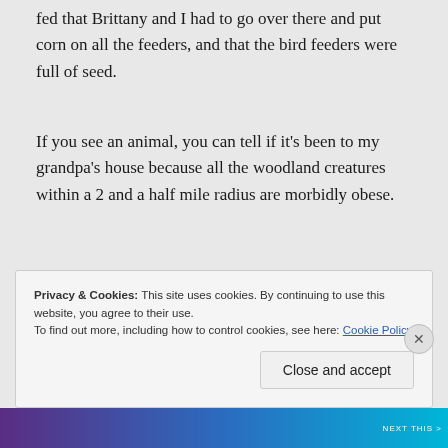fed that Brittany and I had to go over there and put corn on all the feeders, and that the bird feeders were full of seed.
If you see an animal, you can tell if it's been to my grandpa's house because all the woodland creatures within a 2 and a half mile radius are morbidly obese.
Privacy & Cookies: This site uses cookies. By continuing to use this website, you agree to their use.
To find out more, including how to control cookies, see here: Cookie Policy
Close and accept